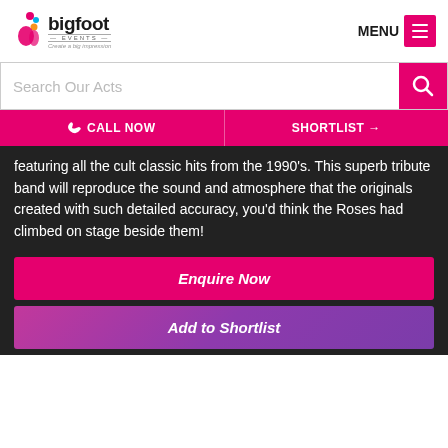[Figure (logo): Bigfoot Events logo with colorful foot icon, bold text 'bigfoot', 'EVENTS' banner, tagline 'Create a big impression']
[Figure (other): MENU button with hamburger icon on pink/magenta background]
Search Our Acts
CALL NOW
SHORTLIST →
featuring all the cult classic hits from the 1990's. This superb tribute band will reproduce the sound and atmosphere that the originals created with such detailed accuracy, you'd think the Roses had climbed on stage beside them!
Enquire Now
Add to Shortlist